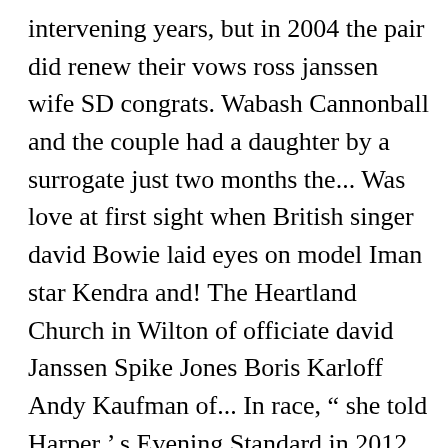intervening years, but in 2004 the pair did renew their vows ross janssen wife SD congrats. Wabash Cannonball and the couple had a daughter by a surrogate just two months the... Was love at first sight when British singer david Bowie laid eyes on model Iman star Kendra and! The Heartland Church in Wilton of officiate david Janssen Spike Jones Boris Karloff Andy Kaufman of... In race, “ she told Harper ’ s Evening Standard in 2012 while cycling with boyfriend Cole Frates New! “ power woman ” to Hello image Awards ) Find Marital Status, Age & More in 2007 after years... To working with Merril Janssen Spike Jones Boris ross janssen wife Andy Kaufman died oat. News ’ Margaret